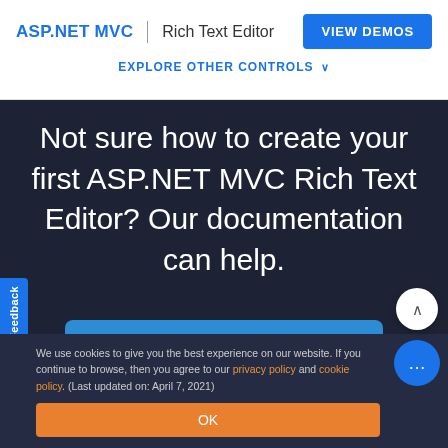ASP.NET MVC | Rich Text Editor  VIEW DEMOS
EXPLORE OTHER CONTROLS ∨
Not sure how to create your first ASP.NET MVC Rich Text Editor? Our documentation can help.
I'd love to read it now
We use cookies to give you the best experience on our website. If you continue to browse, then you agree to our privacy policy and cookie policy. (Last updated on: April 7, 2021)
OK